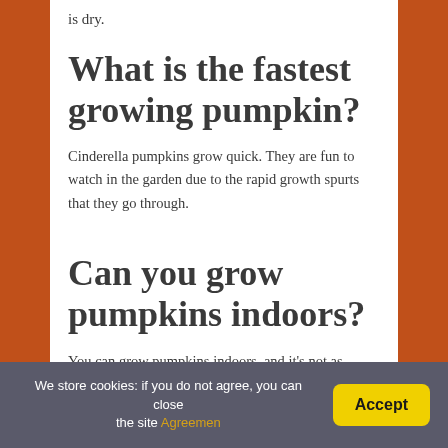is dry.
What is the fastest growing pumpkin?
Cinderella pumpkins grow quick. They are fun to watch in the garden due to the rapid growth spurts that they go through.
Can you grow pumpkins indoors?
You can grow pumpkins indoors, and it's not as difficult as you may think. Before you get planting, gather up your supplies and make sure
We store cookies: if you do not agree, you can close the site Agreemen  Accept